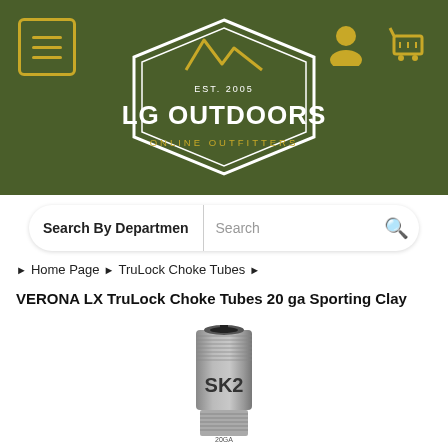[Figure (logo): LG Outdoors Online Outfitters logo with green hexagon badge and mountain peak, EST. 2005]
Search By Department  Search
▶ Home Page  ▶ TruLock Choke Tubes  ▶
VERONA LX TruLock Choke Tubes 20 ga Sporting Clay
[Figure (photo): A metal choke tube labeled SK2, cylindrical with knurled grip and threaded end, marked 20ga]